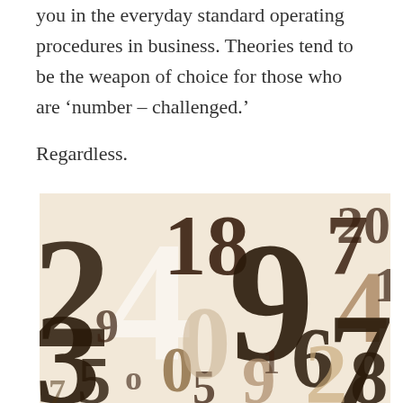you in the everyday standard operating procedures in business. Theories tend to be the weapon of choice for those who are 'number – challenged.'
Regardless.
[Figure (illustration): A decorative illustration featuring overlapping numbers (0-9) in various sizes and shades of brown and dark chocolate on a cream/beige background, creating a typographic collage.]